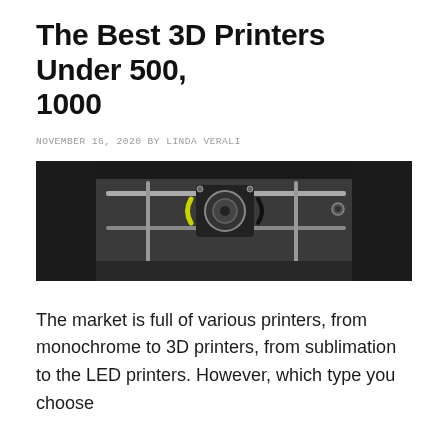The Best 3D Printers Under 500, 1000
NOVEMBER 16, 2020 BY LINDA VERALI
[Figure (photo): Top-down view of a 3D printer showing the print head mechanism, stepper motor, and rails against a dark enclosure background]
The market is full of various printers, from monochrome to 3D printers, from sublimation to the LED printers. However, which type you choose